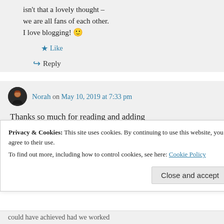isn't that a lovely thought – we are all fans of each other. I love blogging! 🙂
★ Like
↪ Reply
Norah on May 10, 2019 at 7:33 pm
Thanks so much for reading and adding
Privacy & Cookies: This site uses cookies. By continuing to use this website, you agree to their use.
To find out more, including how to control cookies, see here: Cookie Policy
Close and accept
could have achieved had we worked